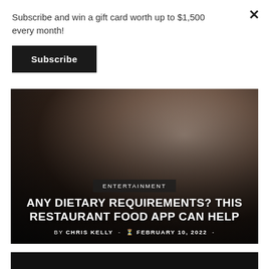Subscribe and win a gift card worth up to $1,500 every month!
Subscribe
[Figure (photo): Person holding a smartphone over a plate of food at a restaurant, dark moody lighting]
ENTERTAINMENT
ANY DIETARY REQUIREMENTS? THIS RESTAURANT FOOD APP CAN HELP
BY CHRIS KELLY  -  ⏰ February 10, 2022  -